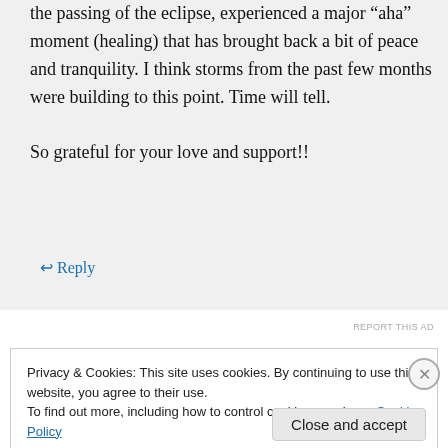the passing of the eclipse, experienced a major “aha” moment (healing) that has brought back a bit of peace and tranquility. I think storms from the past few months were building to this point. Time will tell.

So grateful for your love and support!!
↳ Reply
REPORT THIS AD
Privacy & Cookies: This site uses cookies. By continuing to use this website, you agree to their use.
To find out more, including how to control cookies, see here: Cookie Policy
Close and accept